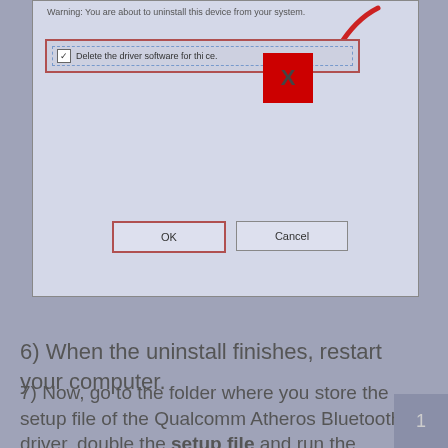[Figure (screenshot): Windows dialog box for uninstalling a device driver, showing a checkbox 'Delete the driver software for this device', with a red X overlay on the checkbox area and a red arrow pointing to it. OK and Cancel buttons at the bottom, with OK button highlighted in red border.]
6) When the uninstall finishes, restart your computer.
7) Now, go to the folder where you store the setup file of the Qualcomm Atheros Bluetooth driver, double the setup file and run the installation as instructed.
1